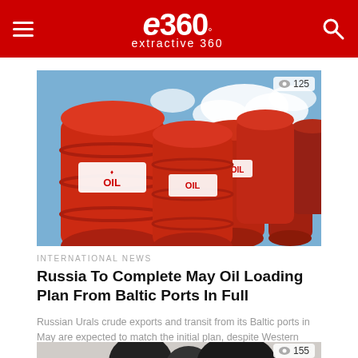extractive 360
[Figure (photo): Red oil barrels stacked against a blue sky with clouds. One barrel in front has an OIL label with a red drop icon. View count: 125.]
INTERNATIONAL NEWS
Russia To Complete May Oil Loading Plan From Baltic Ports In Full
Russian Urals crude exports and transit from its Baltic ports in May are expected to match the initial plan, despite Western sanctions...
[Figure (photo): Partial view of a second article image showing black oil-related equipment. View count: 155.]